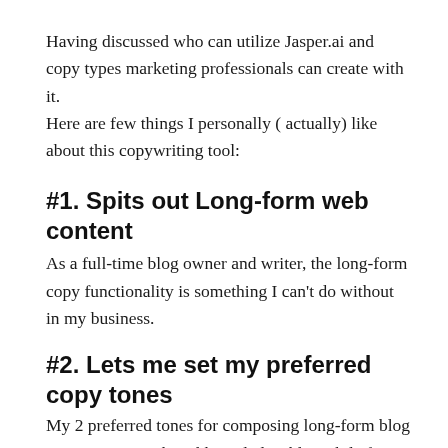Having discussed who can utilize Jasper.ai and copy types marketing professionals can create with it.
Here are few things I personally ( actually) like about this copywriting tool:
#1. Spits out Long-form web content
As a full-time blog owner and writer, the long-form copy functionality is something I can't do without in my business.
#2. Lets me set my preferred copy tones
My 2 preferred tones for composing long-form blog posts are research and knowledgeable. While for